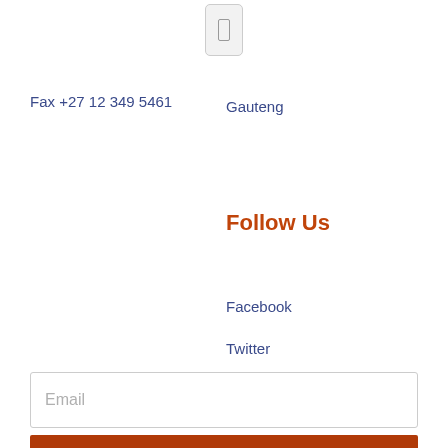[Figure (other): Small icon box with a phone/tablet icon outline]
Fax +27 12 349 5461
Gauteng
Follow Us
Facebook
Twitter
YouTube
Email